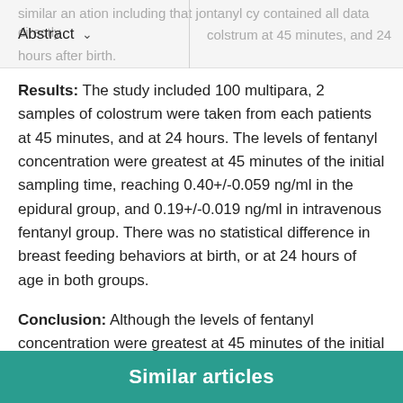Abstract | ation in the colostrum at 45 minutes, and 24 hours after birth.
Results: The study included 100 multipara, 2 samples of colostrum were taken from each patients at 45 minutes, and at 24 hours. The levels of fentanyl concentration were greatest at 45 minutes of the initial sampling time, reaching 0.40+/-0.059 ng/ml in the epidural group, and 0.19+/-0.019 ng/ml in intravenous fentanyl group. There was no statistical difference in breast feeding behaviors at birth, or at 24 hours of age in both groups.
Conclusion: Although the levels of fentanyl concentration were greatest at 45 minutes of the initial sampling time, it can be used safely as intravenous or epidural without affecting the initial breast feeding behaviors of the newborn.
Similar articles